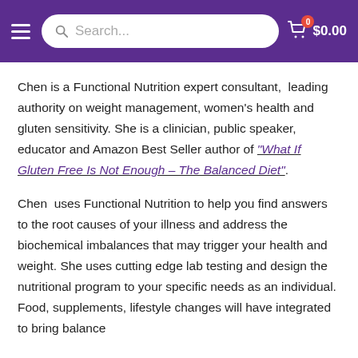Search... $0.00
Chen is a Functional Nutrition expert consultant, leading authority on weight management, women's health and gluten sensitivity. She is a clinician, public speaker, educator and Amazon Best Seller author of “What If Gluten Free Is Not Enough – The Balanced Diet”.
Chen uses Functional Nutrition to help you find answers to the root causes of your illness and address the biochemical imbalances that may trigger your health and weight. She uses cutting edge lab testing and design the nutritional program to your specific needs as an individual. Food, supplements, lifestyle changes will have integrated to bring balance